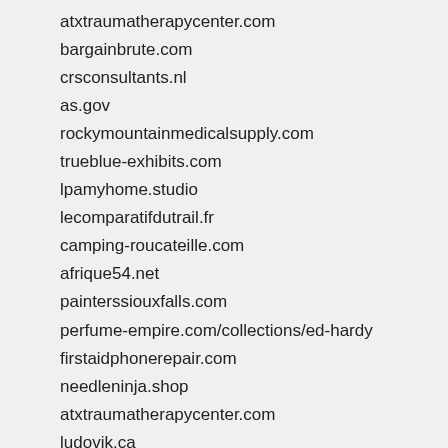atxtraumatherapycenter.com
bargainbrute.com
crsconsultants.nl
as.gov
rockymountainmedicalsupply.com
trueblue-exhibits.com
lpamyhome.studio
lecomparatifdutrail.fr
camping-roucateille.com
afrique54.net
painterssiouxfalls.com
perfume-empire.com/collections/ed-hardy
firstaidphonerepair.com
needleninja.shop
atxtraumatherapycenter.com
ludovik.ca